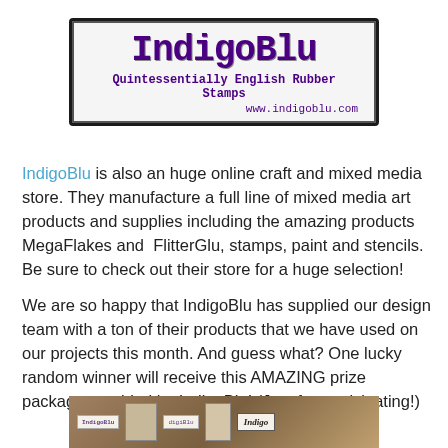[Figure (logo): IndigoBlu logo - rectangular stamp-style box with 'IndigoBlu' in large purple monospace font, subtitle 'Quintessentially English Rubber Stamps' and URL 'www.indigoblu.com']
IndigoBlu is also an huge online craft and mixed media store. They manufacture a full line of mixed media art products and supplies including the amazing products MegaFlakes and FlitterGlu, stamps, paint and stencils. Be sure to check out their store for a huge selection!
We are so happy that IndigoBlu has supplied our design team with a ton of their products that we have used on our projects this month. And guess what? One lucky random winner will receive this AMAZING prize package provided by IndigoBlu! (Just for participating!)
[Figure (photo): Partial view of IndigoBlu product packaging/stamps at bottom of page]